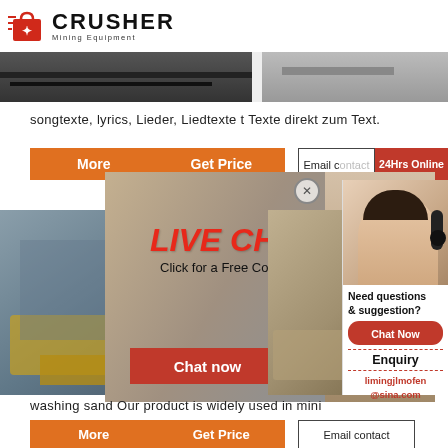[Figure (logo): Crusher Mining Equipment logo with red shopping bag icon and bold CRUSHER text]
[Figure (photo): Top photo strip showing two partial images: industrial conveyor belt and dusty outdoor surface]
songtexte, lyrics, Lieder, Liedtexte t Texte direkt zum Text.
[Figure (screenshot): Orange button bar with More and Get Price buttons, Email contact box, and 24Hrs Online red badge]
[Figure (screenshot): Live Chat popup overlay with workers photo, LIVE CHAT title in red italic, Click for a Free Consultation text, Chat now red button, Chat later dark button, close X button]
[Figure (photo): Left: yellow mining machinery equipment outdoors. Right: quarry/aggregate site with equipment.]
[Figure (screenshot): Right sidebar panel with Need questions & suggestion, Chat Now button, dashed divider, Enquiry label, limingjlmofen@sina.com email, customer service rep with headset photo]
washing sand Our product is widely used in mini
[Figure (screenshot): Bottom orange button bar with More and Get Price, and Email contact box]